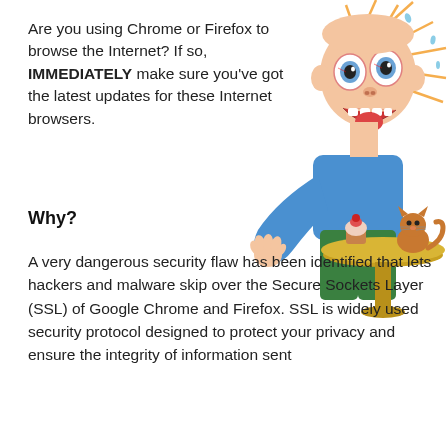Are you using Chrome or Firefox to browse the Internet? If so, IMMEDIATELY make sure you've got the latest updates for these Internet browsers.
[Figure (illustration): Cartoon of a stressed, sweating man with bulging eyes reaching over a round table, with a cat and a cupcake on the table. The man appears panicked with sweat drops flying. He is wearing a blue shirt and green pants.]
Why?
A very dangerous security flaw has been identified that lets hackers and malware skip over the Secure Sockets Layer (SSL) of Google Chrome and Firefox. SSL is widely used security protocol designed to protect your privacy and ensure the integrity of information sent